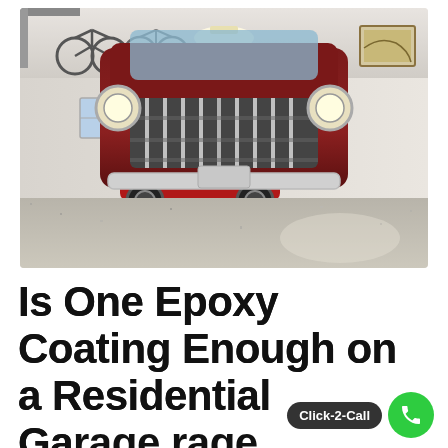[Figure (photo): Interior of a clean garage with epoxy-coated floor showing two classic/vintage cars: a large dark red/maroon truck in the foreground facing the camera, and a smaller red antique car behind it. Bicycles hang from the ceiling on the left. The floor is a speckled gray epoxy coating.]
Is One Epoxy Coating Enough on a Residential Garage Floor?